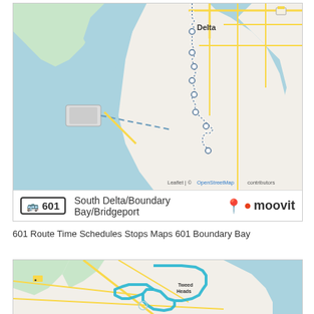[Figure (map): Street map showing bus route 601 South Delta/Boundary Bay/Bridgeport near Delta, BC. The route is shown as a dotted/dashed white-outlined path running vertically through the centre of the map. Water bodies are light blue, land is light tan/green, roads are yellow and grey. A ferry terminal is visible on the left. Attribution: Leaflet | © OpenStreetMap contributors.]
601 Route Time Schedules Stops Maps 601 Boundary Bay
[Figure (map): Street map showing a bus route near Tweed Heads area. A cyan/turquoise coloured bus route forms a loop shape, running around a peninsula. Water appears on the right (ocean) and various waterways inland. Roads are yellow and grey, land is light tan and green.]